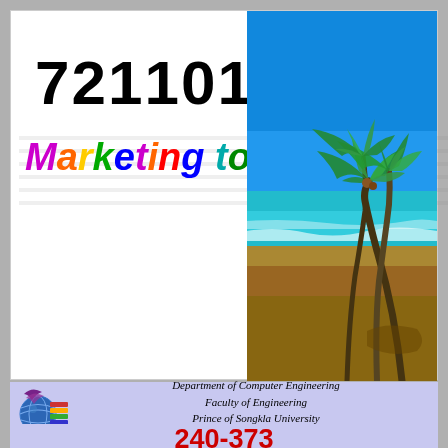721101
Marketing to Business
[Figure (photo): Tropical beach scene with palm trees leaning over sandy beach with turquoise ocean water and blue sky]
[Figure (logo): Department logo: circular globe with colored horizontal stripes and arc shapes in purple and green]
Department of Computer Engineering
Faculty of Engineering
Prince of Songkla University
240-373